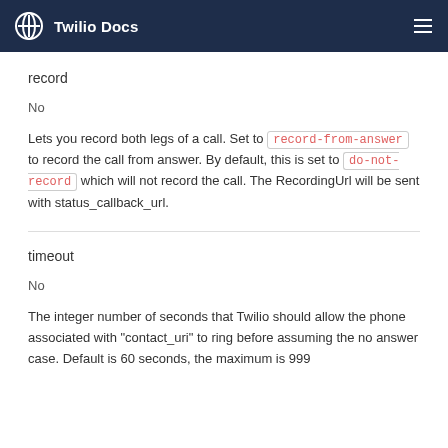Twilio Docs
record
No
Lets you record both legs of a call. Set to record-from-answer to record the call from answer. By default, this is set to do-not-record which will not record the call. The RecordingUrl will be sent with status_callback_url.
timeout
No
The integer number of seconds that Twilio should allow the phone associated with "contact_uri" to ring before assuming the no answer case. Default is 60 seconds, the maximum is 999